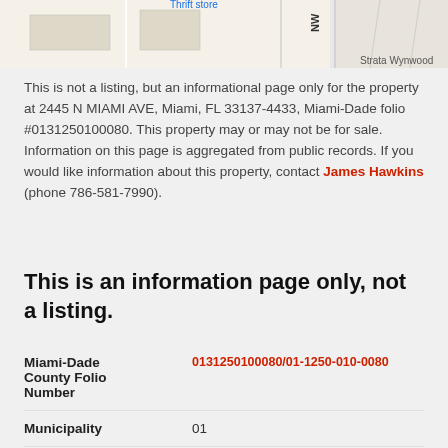[Figure (map): Partial street map showing Thrift store label in blue, NW street indicator, and Strata Wynwood label]
This is not a listing, but an informational page only for the property at 2445 N MIAMI AVE, Miami, FL 33137-4433, Miami-Dade folio #0131250100080. This property may or may not be for sale. Information on this page is aggregated from public records. If you would like information about this property, contact James Hawkins (phone 786-581-7990).
This is an information page only, not a listing.
| Field | Value |
| --- | --- |
| Miami-Dade County Folio Number | 0131250100080/01-1250-010-0080 |
| Municipality | 01 |
| Township | 53 |
| Range | 41 |